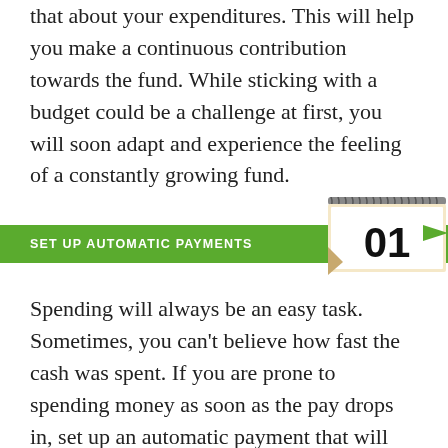that about your expenditures. This will help you make a continuous contribution towards the fund. While sticking with a budget could be a challenge at first, you will soon adapt and experience the feeling of a constantly growing fund.
[Figure (infographic): Green banner with text 'SET UP AUTOMATIC PAYMENTS' and a calendar showing '01' on the right side with a green ribbon/arrow decoration.]
Spending will always be an easy task. Sometimes, you can't believe how fast the cash was spent. If you are prone to spending money as soon as the pay drops in, set up an automatic payment that will send some money to the emergency